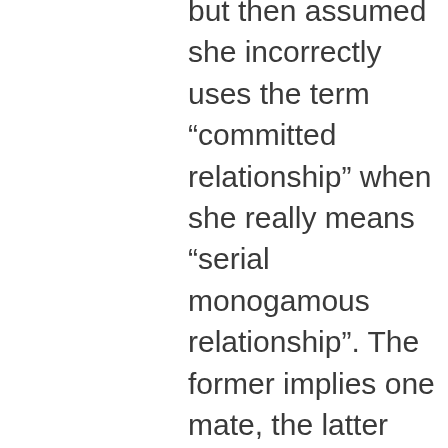but then assumed she incorrectly uses the term “committed relationship” when she really means “serial monogamous relationship”. The former implies one mate, the latter implies one mate *at a time*. Subtle, but important difference, especially to the mate in question. No judgment meant or implied, only pointing out sloppy terminology.